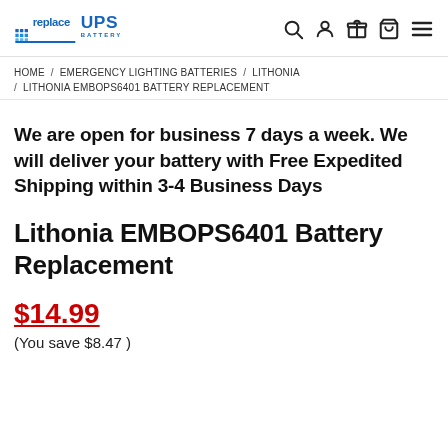[Figure (logo): replaceUPS Battery logo — 'replace' in blue lowercase, 'UPS' in large blue caps, 'BATTERY' below in smaller caps]
HOME / EMERGENCY LIGHTING BATTERIES / LITHONIA / LITHONIA EMBOPS6401 BATTERY REPLACEMENT
We are open for business 7 days a week. We will deliver your battery with Free Expedited Shipping within 3-4 Business Days
Lithonia EMBOPS6401 Battery Replacement
$14.99
(You save $8.47 )